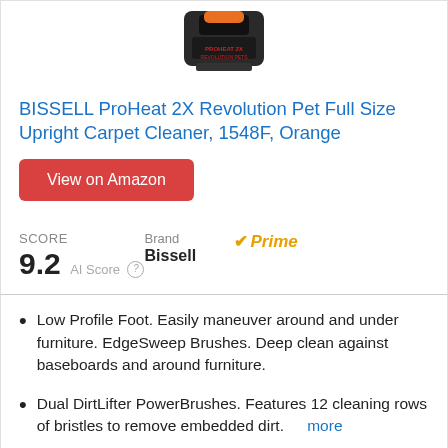[Figure (photo): BISSELL ProHeat 2X Revolution carpet cleaner product image, top view showing orange handle and black body]
BISSELL ProHeat 2X Revolution Pet Full Size Upright Carpet Cleaner, 1548F, Orange
View on Amazon
SCORE
9.2 AI Score
Brand
Bissell
Prime
Low Profile Foot. Easily maneuver around and under furniture. EdgeSweep Brushes. Deep clean against baseboards and around furniture.
Dual DirtLifter PowerBrushes. Features 12 cleaning rows of bristles to remove embedded dirt. more